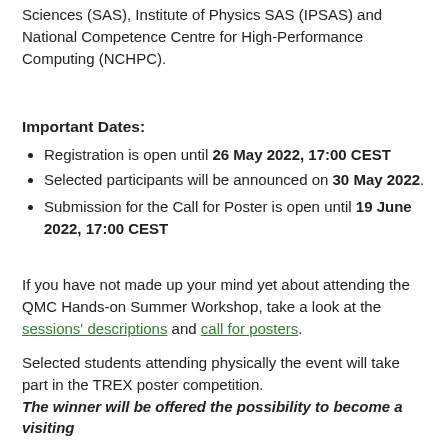Sciences (SAS), Institute of Physics SAS (IPSAS) and National Competence Centre for High-Performance Computing (NCHPC).
Important Dates:
Registration is open until 26 May 2022, 17:00 CEST
Selected participants will be announced on 30 May 2022.
Submission for the Call for Poster is open until 19 June 2022, 17:00 CEST
If you have not made up your mind yet about attending the QMC Hands-on Summer Workshop, take a look at the sessions' descriptions and call for posters.
Selected students attending physically the event will take part in the TREX poster competition. The winner will be offered the possibility to become a visiting student for one year at the Institute of Physics SAS in Slovakia.